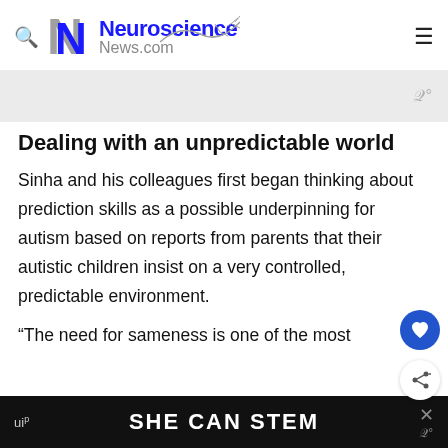Neuroscience News.com
[Figure (screenshot): Advertisement banner with watermark symbol]
Dealing with an unpredictable world
Sinha and his colleagues first began thinking about prediction skills as a possible underpinning for autism based on reports from parents that their autistic children insist on a very controlled, predictable environment.
“The need for sameness is one of the most
[Figure (screenshot): Bottom advertisement bar reading SHE CAN STEM with close button]
SHE CAN STEM